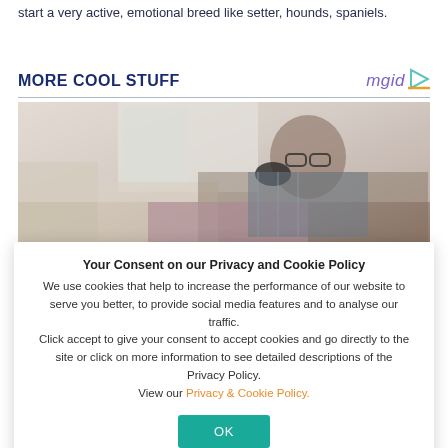start a very active, emotional breed like setter, hounds, spaniels.
MORE COOL STUFF
[Figure (photo): Man with glasses lying on a couch holding a game controller, smiling, wearing a plaid shirt]
Your Consent on our Privacy and Cookie Policy
We use cookies that help to increase the performance of our website to serve you better, to provide social media features and to analyse our traffic.
Click accept to give your consent to accept cookies and go directly to the site or click on more information to see detailed descriptions of the Privacy Policy.
View our Privacy & Cookie Policy.
[Figure (photo): Partial dark photo strip at bottom of page]